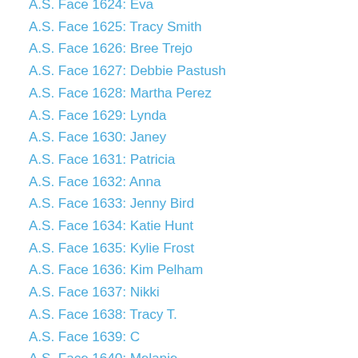A.S. Face 1624: Eva
A.S. Face 1625: Tracy Smith
A.S. Face 1626: Bree Trejo
A.S. Face 1627: Debbie Pastush
A.S. Face 1628: Martha Perez
A.S. Face 1629: Lynda
A.S. Face 1630: Janey
A.S. Face 1631: Patricia
A.S. Face 1632: Anna
A.S. Face 1633: Jenny Bird
A.S. Face 1634: Katie Hunt
A.S. Face 1635: Kylie Frost
A.S. Face 1636: Kim Pelham
A.S. Face 1637: Nikki
A.S. Face 1638: Tracy T.
A.S. Face 1639: C
A.S. Face 1640: Melanie
A.S. Face 1641: Shannon
A.S. Face 1642: Robin Shaffer
A.S. Face 1643: Donna